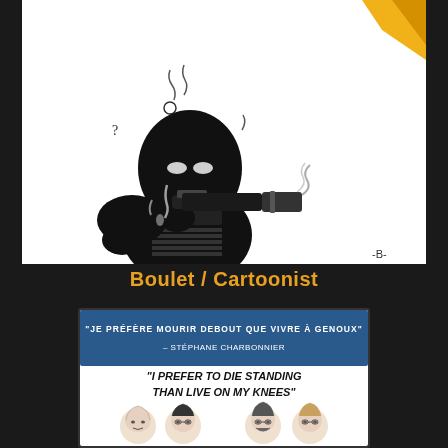[Figure (illustration): Black and white cartoon illustration showing a dark masked figure in black holding a gun/weapon, with question mark symbols and smoke/steam rising around the figure. Artist signature '-B-' in lower right corner. White background.]
Boulet / Cartoonist
[Figure (illustration): Cartoon image with two sections: top blue banner with French text 'JE PRÉFÈRE MOURIR DEBOUT QUE VIVRE À GENOUX' - STÉPHANE CHARBONNIER, and white lower section with English text 'I PREFER TO DIE STANDING THAN LIVE ON MY KNEES' with drawn portraits of four people below.]